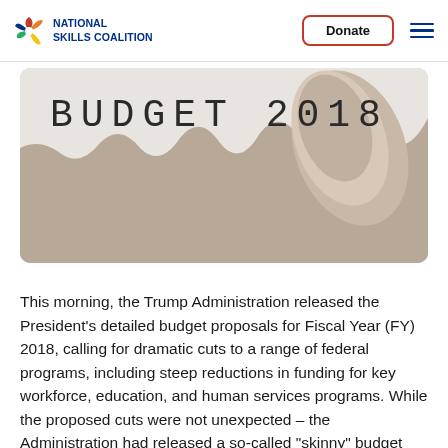National Skills Coalition | Donate | Menu
[Figure (photo): Banner image showing torn paper revealing the handwritten text 'BUDGET 2018' against a light background, with torn brown paper/cardboard texture.]
This morning, the Trump Administration released the President's detailed budget proposals for Fiscal Year (FY) 2018, calling for dramatic cuts to a range of federal programs, including steep reductions in funding for key workforce, education, and human services programs. While the proposed cuts were not unexpected – the Administration had released a so-called "skinny" budget